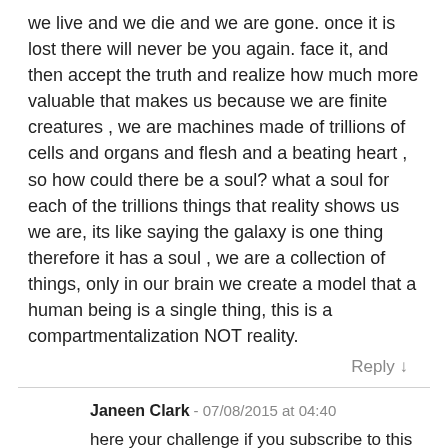we live and we die and we are gone. once it is lost there will never be you again. face it, and then accept the truth and realize how much more valuable that makes us because we are finite creatures , we are machines made of trillions of cells and organs and flesh and a beating heart , so how could there be a soul? what a soul for each of the trillions things that reality shows us we are, its like saying the galaxy is one thing therefore it has a soul , we are a collection of things, only in our brain we create a model that a human being is a single thing, this is a compartmentalization NOT reality.
Reply ↓
Janeen Clark - 07/08/2015 at 04:40
here your challenge if you subscribe to this bull, make a list of modern day current quantum physicists that believe consciousness is the